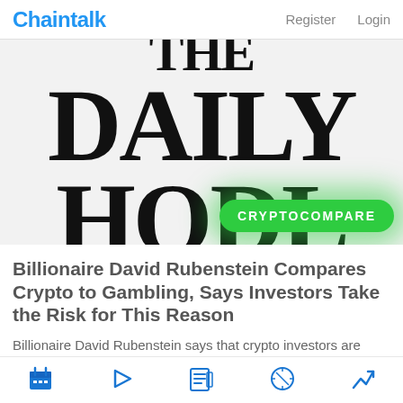Chaintalk  Register  Login
[Figure (illustration): The Daily HODL newspaper logo with large serif bold text 'THE DAILY HODL', with a green rounded badge overlay reading 'CRYPTOCOMPARE']
Billionaire David Rubenstein Compares Crypto to Gambling, Says Investors Take the Risk for This Reason
Billionaire David Rubenstein says that crypto investors are